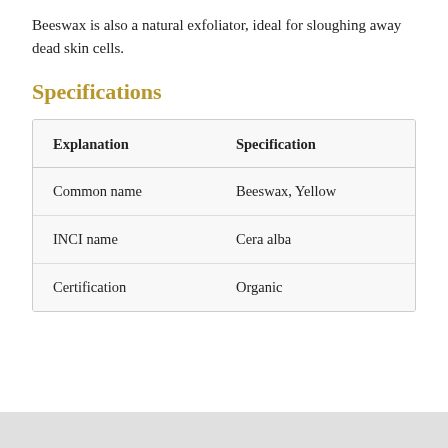Beeswax is also a natural exfoliator, ideal for sloughing away dead skin cells.
Specifications
| Explanation | Specification |
| --- | --- |
| Common name | Beeswax, Yellow |
| INCI name | Cera alba |
| Certification | Organic |